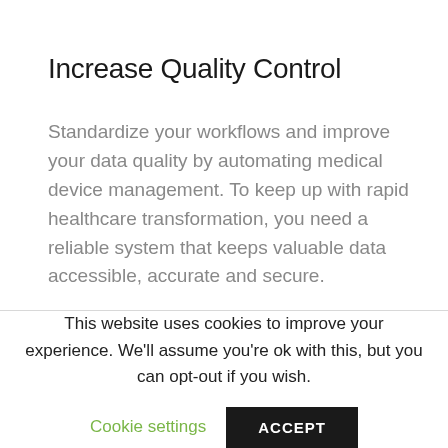Increase Quality Control
Standardize your workflows and improve your data quality by automating medical device management. To keep up with rapid healthcare transformation, you need a reliable system that keeps valuable data accessible, accurate and secure.
This website uses cookies to improve your experience. We'll assume you're ok with this, but you can opt-out if you wish.
Cookie settings
ACCEPT